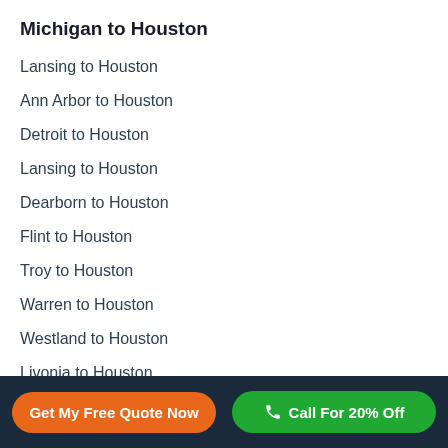Michigan to Houston
Lansing to Houston
Ann Arbor to Houston
Detroit to Houston
Lansing to Houston
Dearborn to Houston
Flint to Houston
Troy to Houston
Warren to Houston
Westland to Houston
Livonia to Houston
Grand Rapids to Houston
Sterling Heights to Houston
Get My Free Quote Now | Call For 20% Off